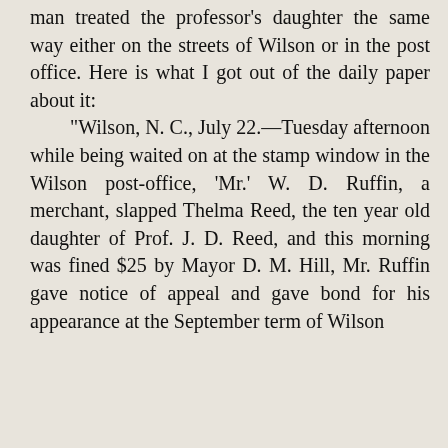man treated the professor's daughter the same way either on the streets of Wilson or in the post office. Here is what I got out of the daily paper about it:

"Wilson, N. C., July 22.—Tuesday afternoon while being waited on at the stamp window in the Wilson post-office, 'Mr.' W. D. Ruffin, a merchant, slapped Thelma Reed, the ten year old daughter of Prof. J. D. Reed, and this morning was fined $25 by Mayor D. M. Hill, Mr. Ruffin gave notice of appeal and gave bond for his appearance at the September term of Wilson